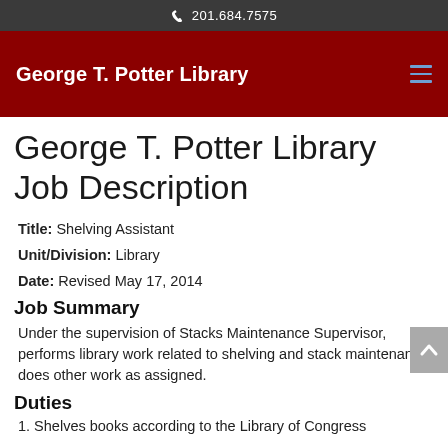201.684.7575
George T. Potter Library
George T. Potter Library Job Description
Title: Shelving Assistant
Unit/Division: Library
Date: Revised May 17, 2014
Job Summary
Under the supervision of Stacks Maintenance Supervisor, performs library work related to shelving and stack maintenance; does other work as assigned.
Duties
1. Shelves books according to the Library of Congress